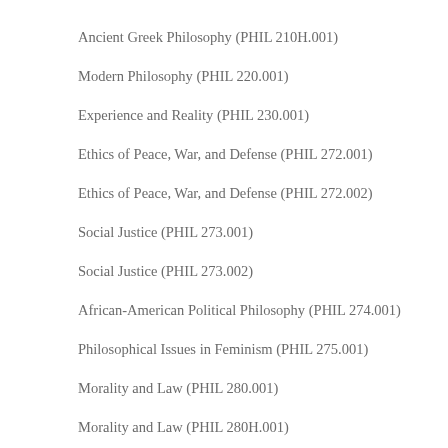Ancient Greek Philosophy (PHIL 210H.001)
Modern Philosophy (PHIL 220.001)
Experience and Reality (PHIL 230.001)
Ethics of Peace, War, and Defense (PHIL 272.001)
Ethics of Peace, War, and Defense (PHIL 272.002)
Social Justice (PHIL 273.001)
Social Justice (PHIL 273.002)
African-American Political Philosophy (PHIL 274.001)
Philosophical Issues in Feminism (PHIL 275.001)
Morality and Law (PHIL 280.001)
Morality and Law (PHIL 280H.001)